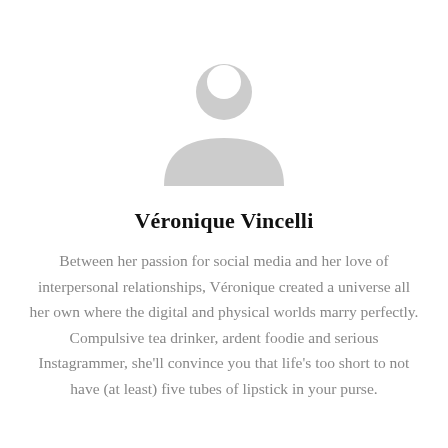[Figure (illustration): Generic grey person/avatar silhouette icon — circular head above a shoulder shape, all in light grey]
Véronique Vincelli
Between her passion for social media and her love of interpersonal relationships, Véronique created a universe all her own where the digital and physical worlds marry perfectly. Compulsive tea drinker, ardent foodie and serious Instagrammer, she'll convince you that life's too short to not have (at least) five tubes of lipstick in your purse.